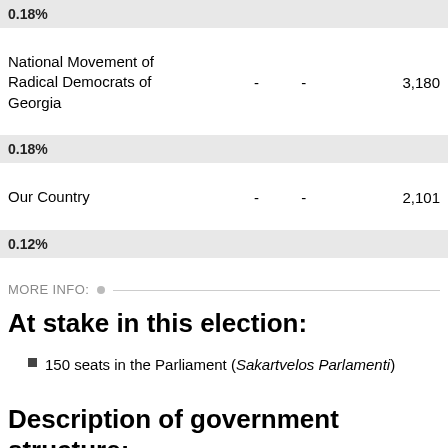| Party | Col2 | Col3 | Votes |
| --- | --- | --- | --- |
| 0.18% |  |  |  |
| National Movement of Radical Democrats of Georgia | - | - | 3,180 |
| 0.18% |  |  |  |
| Our Country | - | - | 2,101 |
| 0.12% |  |  |  |
MORE INFO:
At stake in this election:
150 seats in the Parliament (Sakartvelos Parlamenti)
Description of government structure: